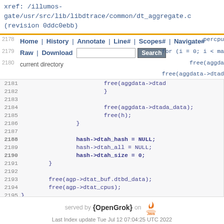xref: /illumos-gate/usr/src/lib/libdtrace/common/dt_aggregate.c (revision 0ddc0ebb)
Home | History | Annotate | Line# | Scopes# | Navigate# | Raw | Download  [search box] Search  a_percpu  for (i = 0; i < ma  free(aggda  free(aggdata->dtad  current directory
[Figure (screenshot): Source code viewer showing lines 2178-2196 of dt_aggregate.c with line numbers and code in monospace blue font]
served by {OpenGrok} on Java  Last Index update Tue Jul 12 07:04:25 UTC 2022